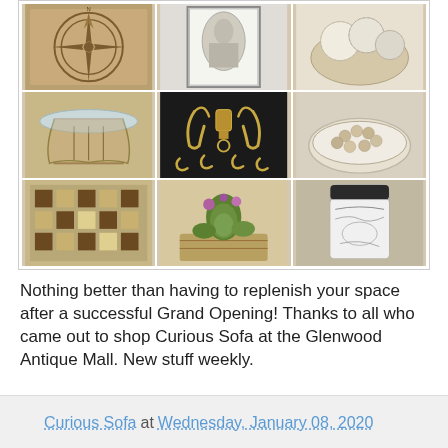[Figure (photo): 3x3 photo collage of antique/vintage items including a compass rose decoration, a framed painting, yarn/wool, a glass table, brass hardware pieces, wooden beads in a bowl, a patterned rug, a succulent plant arrangement, and a decorative ceramic vase.]
Nothing better than having to replenish your space after a successful Grand Opening! Thanks to all who came out to shop Curious Sofa at the Glenwood Antique Mall. New stuff weekly.
Curious Sofa at Wednesday, January 08, 2020